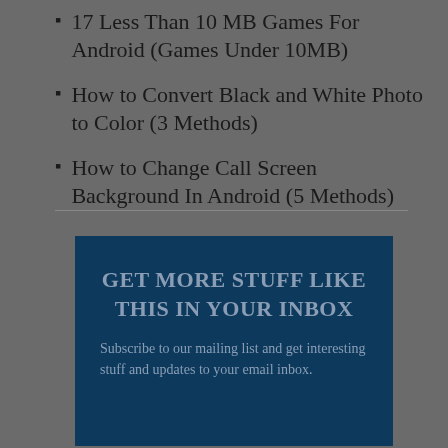17 Less Than 10 MB Games For Android (Games Under 10MB)
How to Convert Black and White Photo to Color (3 Methods)
How to Change Call Screen Background In Android (5 Methods)
[Figure (infographic): Dark blue newsletter signup box with heading 'GET MORE STUFF LIKE THIS IN YOUR INBOX' and body text 'Subscribe to our mailing list and get interesting stuff and updates to your email inbox.']